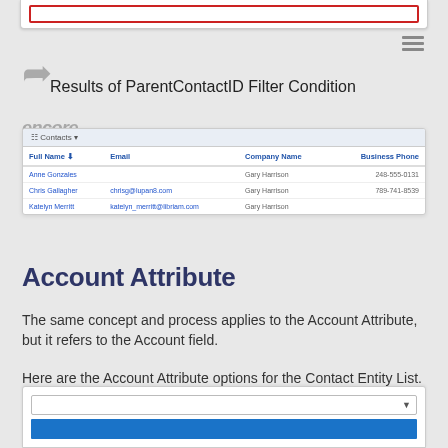[Figure (screenshot): Top portion of a UI screenshot with red bordered element]
Results of ParentContactID Filter Condition
[Figure (screenshot): Encore CRM contacts list showing Full Name, Email, Company Name, Business Phone columns with entries: Anne Gonzales (Gary Harrison, 248-555-0131), Chris Gallagher (chrisg@lupan8.com, Gary Harrison, 789-741-8539), Katelyn Merritt (katelyn_merritt@libriam.com, Gary Harrison)]
Account Attribute
The same concept and process applies to the Account Attribute, but it refers to the Account field.
Here are the Account Attribute options for the Contact Entity List.
[Figure (screenshot): Bottom portion of a UI screenshot showing a dropdown input and blue bar]